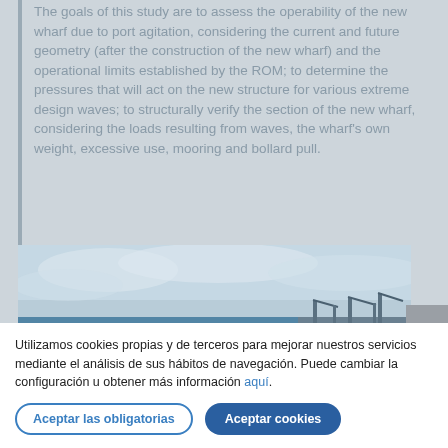The goals of this study are to assess the operability of the new wharf due to port agitation, considering the current and future geometry (after the construction of the new wharf) and the operational limits established by the ROM; to determine the pressures that will act on the new structure for various extreme design waves; to structurally verify the section of the new wharf, considering the loads resulting from waves, the wharf's own weight, excessive use, mooring and bollard pull.
[Figure (photo): Aerial view of a large commercial port with a long pier/breakwater extending into the sea, cranes and industrial facilities visible on the right side, blue water, and overcast sky.]
Utilizamos cookies propias y de terceros para mejorar nuestros servicios mediante el análisis de sus hábitos de navegación. Puede cambiar la configuración u obtener más información aquí.
Aceptar las obligatorias | Aceptar cookies
STUDY OF SOLUTIONS TO IMPROVE